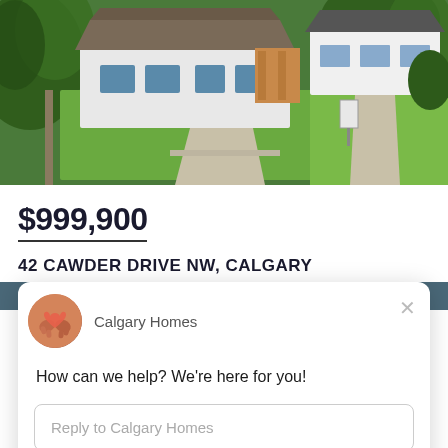[Figure (photo): Aerial drone photo of a renovated bungalow with white exterior, large green lawn, concrete driveway, surrounded by trees, with neighboring houses visible]
$999,900
42 CAWDER DRIVE NW, CALGARY
4 BATHS • 1864 SQFT • RESIDENTIAL
[Figure (screenshot): Drift chat popup widget showing Calgary Homes avatar, greeting message 'How can we help? We're here for you!' and reply input field]
Chat ⚡ by Drift